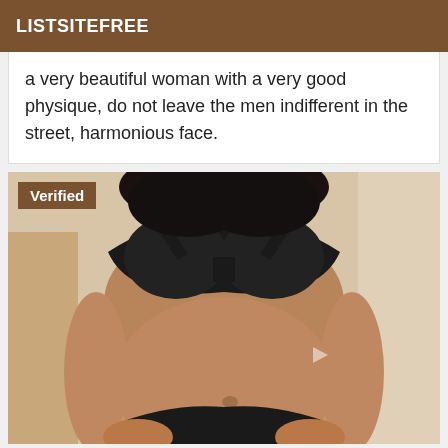LISTSITEFREE
a very beautiful woman with a very good physique, do not leave the men indifferent in the street, harmonious face.
[Figure (photo): Photo of a woman wearing black lingerie with a 'Verified' badge overlay in the top-left corner.]